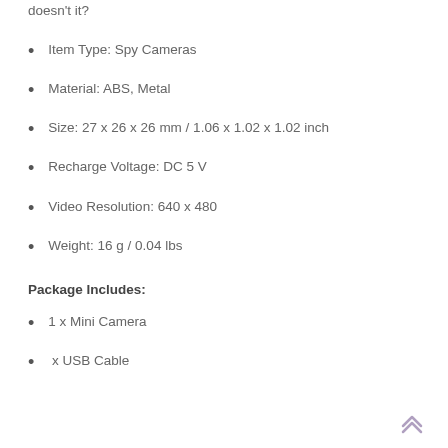doesn't it?
Item Type: Spy Cameras
Material: ABS, Metal
Size: 27 x 26 x 26 mm / 1.06 x 1.02 x 1.02 inch
Recharge Voltage: DC 5 V
Video Resolution: 640 x 480
Weight: 16 g / 0.04 lbs
Package Includes:
1 x Mini Camera
x USB Cable